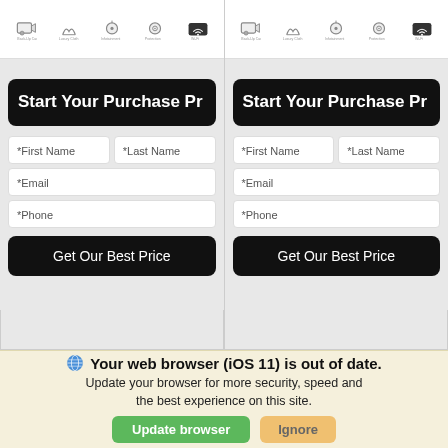[Figure (screenshot): Two side-by-side mobile UI panels, each with a row of 5 icons (Back-Up Camera, Luxury Cloth, Infotainment, Protection, WiFi), a black rounded rectangle heading 'Start Your Purchase Pr...', form fields for First Name, Last Name, Email, Phone, and a black 'Get Our Best Price' button. Below the panels are partially visible additional panels.]
Your web browser (iOS 11) is out of date. Update your browser for more security, speed and the best experience on this site.
Update browser
Ignore